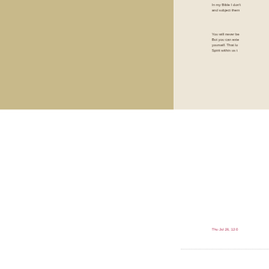In my Bible I don't and subject them
You will never be But you can exte yourself. That lo Spirit within us t
Thu Jul 26, 12:0